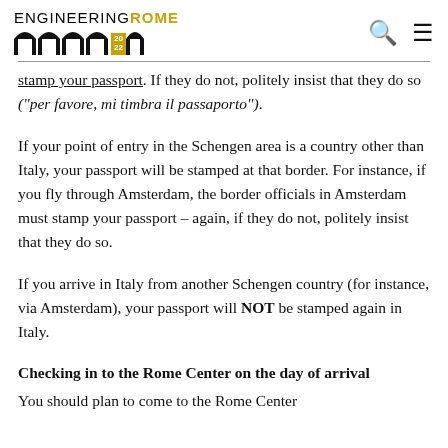ENGINEERING ROME
stamp your passport. If they do not, politely insist that they do so ("per favore, mi timbra il passaporto").
If your point of entry in the Schengen area is a country other than Italy, your passport will be stamped at that border. For instance, if you fly through Amsterdam, the border officials in Amsterdam must stamp your passport – again, if they do not, politely insist that they do so.
If you arrive in Italy from another Schengen country (for instance, via Amsterdam), your passport will NOT be stamped again in Italy.
Checking in to the Rome Center on the day of arrival
You should plan to come to the Rome Center